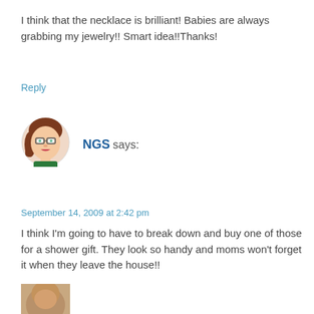I think that the necklace is brilliant! Babies are always grabbing my jewelry!! Smart idea!!Thanks!
Reply
[Figure (illustration): Cartoon avatar of a woman with brown hair and glasses]
NGS says:
September 14, 2009 at 2:42 pm
I think I'm going to have to break down and buy one of those for a shower gift. They look so handy and moms won't forget it when they leave the house!!
Reply
[Figure (photo): Partial photo of a person's face, cropped at bottom of page]